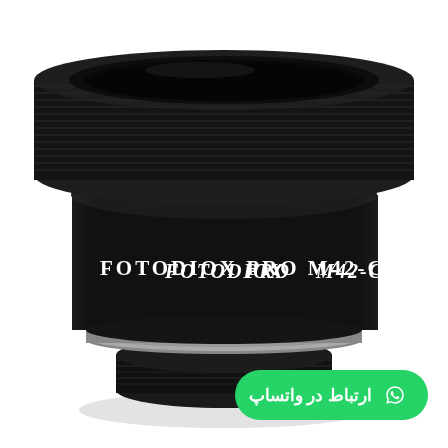[Figure (photo): A black Fotodiox Pro M42-C lens mount adapter. The cylindrical metal adapter has a large threaded opening on top and a smaller threaded end on the bottom, with a silver ring separating the two sections. White text on the body reads 'FOTODIOX PRO M42-C'.]
ارتباط در واتساپ